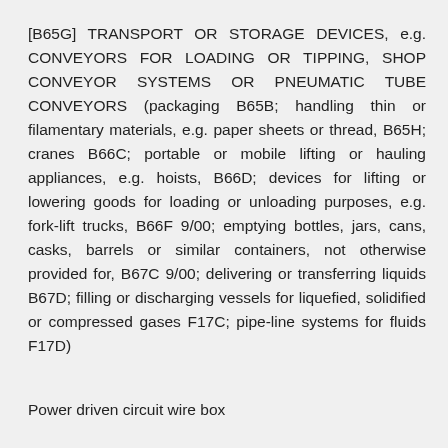[B65G] TRANSPORT OR STORAGE DEVICES, e.g. CONVEYORS FOR LOADING OR TIPPING, SHOP CONVEYOR SYSTEMS OR PNEUMATIC TUBE CONVEYORS (packaging B65B; handling thin or filamentary materials, e.g. paper sheets or thread, B65H; cranes B66C; portable or mobile lifting or hauling appliances, e.g. hoists, B66D; devices for lifting or lowering goods for loading or unloading purposes, e.g. fork-lift trucks, B66F 9/00; emptying bottles, jars, cans, casks, barrels or similar containers, not otherwise provided for, B67C 9/00; delivering or transferring liquids B67D; filling or discharging vessels for liquefied, solidified or compressed gases F17C; pipe-line systems for fluids F17D)
Power driven circuit wire box